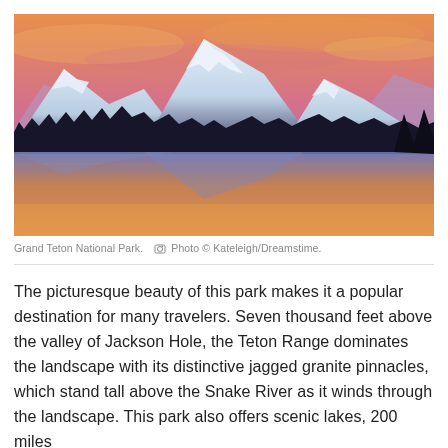[Figure (photo): Scenic photograph of Grand Teton National Park at sunset/sunrise showing snow-capped mountain peaks reflected in a calm river or lake below, with vivid orange, pink and purple sky and dark silhouetted trees in the foreground.]
Grand Teton National Park.  Photo © Kateleigh/Dreamstime.
The picturesque beauty of this park makes it a popular destination for many travelers. Seven thousand feet above the valley of Jackson Hole, the Teton Range dominates the landscape with its distinctive jagged granite pinnacles, which stand tall above the Snake River as it winds through the landscape. This park also offers scenic lakes, 200 miles